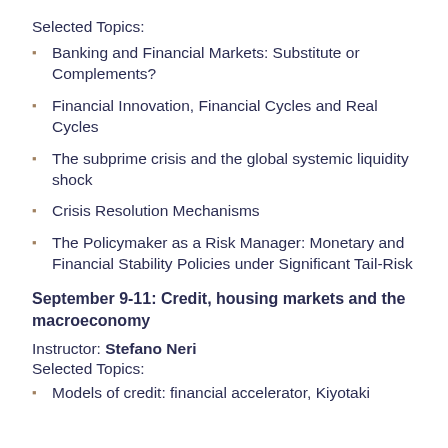Selected Topics:
Banking and Financial Markets: Substitute or Complements?
Financial Innovation, Financial Cycles and Real Cycles
The subprime crisis and the global systemic liquidity shock
Crisis Resolution Mechanisms
The Policymaker as a Risk Manager: Monetary and Financial Stability Policies under Significant Tail-Risk
September 9-11: Credit, housing markets and the macroeconomy
Instructor: Stefano Neri
Selected Topics:
Models of credit: financial accelerator, Kiyotaki...